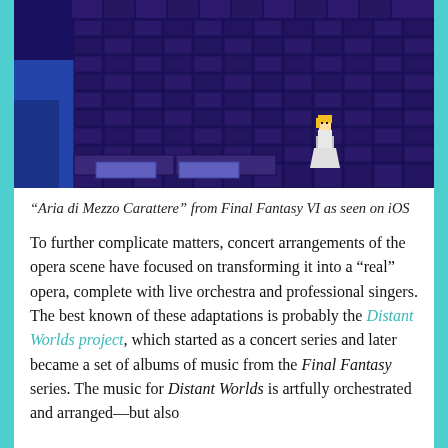[Figure (screenshot): Screenshot of 'Aria di Mezzo Carattere' opera scene from Final Fantasy VI on iOS, showing a pixel-art purple/dark blue castle interior with a small blonde female character in a white dress on the right side.]
“Aria di Mezzo Carattere” from Final Fantasy VI as seen on iOS
To further complicate matters, concert arrangements of the opera scene have focused on transforming it into a “real” opera, complete with live orchestra and professional singers. The best known of these adaptations is probably the Distant Worlds project, which started as a concert series and later became a set of albums of music from the Final Fantasy series. The music for Distant Worlds is artfully orchestrated and arranged—but also